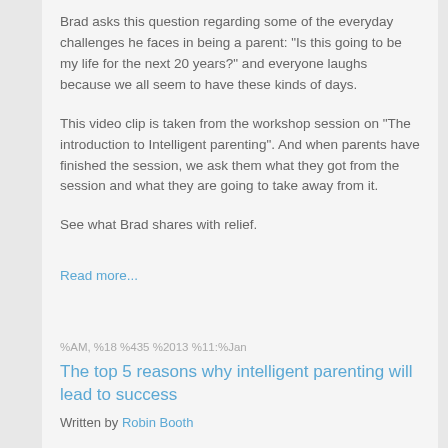Brad asks this question regarding some of the everyday challenges he faces in being a parent: "Is this going to be my life for the next 20 years?" and everyone laughs because we all seem to have these kinds of days.
This video clip is taken from the workshop session on "The introduction to Intelligent parenting". And when parents have finished the session, we ask them what they got from the session and what they are going to take away from it.
See what Brad shares with relief.
Read more...
%AM, %18 %435 %2013 %11:%Jan
The top 5 reasons why intelligent parenting will lead to success
Written by Robin Booth